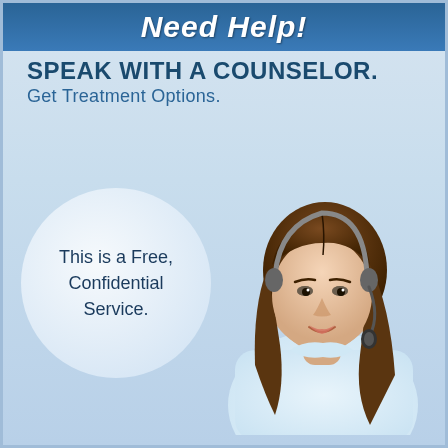Need Help!
SPEAK WITH A COUNSELOR. Get Treatment Options.
[Figure (illustration): Female customer service counselor wearing a headset with microphone, smiling, wearing a light blue/white shirt, rendered against a light blue gradient background.]
This is a Free, Confidential Service.